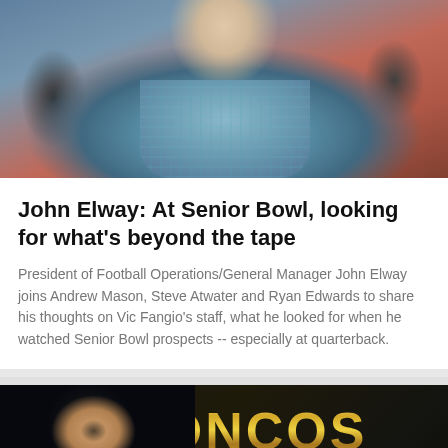[Figure (photo): Photo of John Elway in a plaid/patterned shirt, photographed outdoors at what appears to be a football event]
John Elway: At Senior Bowl, looking for what's beyond the tape
President of Football Operations/General Manager John Elway joins Andrew Mason, Steve Atwater and Ryan Edwards to share his thoughts on Vic Fangio’s staff, what he looked for when he watched Senior Bowl prospects -- especially at quarterback.
[Figure (photo): Photo of a man with headphones and glasses sitting at a microphone in a Broncos Denver radio studio, with BRONCOS DENVER signage and a microphone button overlay]